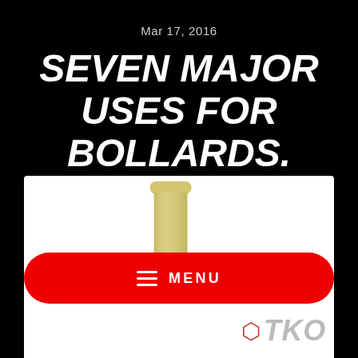Mar 17, 2016
SEVEN MAJOR USES FOR BOLLARDS.
[Figure (photo): A yellow bollard with a red reflective band, shown against a white background. The bollard is tall and cylindrical.]
[Figure (screenshot): Red rounded rectangle button with hamburger menu icon and the text MENU in white letters.]
[Figure (logo): Partial TKO logo visible at the bottom of the image with a red hexagon/house icon.]